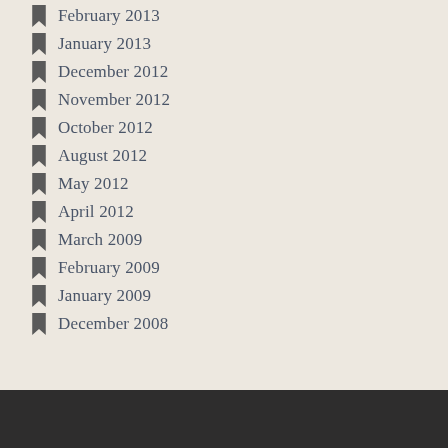February 2013
January 2013
December 2012
November 2012
October 2012
August 2012
May 2012
April 2012
March 2009
February 2009
January 2009
December 2008